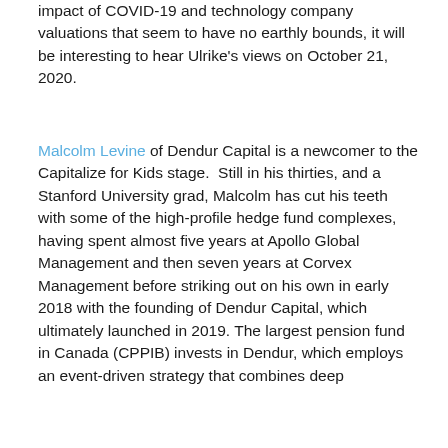impact of COVID-19 and technology company valuations that seem to have no earthly bounds, it will be interesting to hear Ulrike's views on October 21, 2020.
Malcolm Levine of Dendur Capital is a newcomer to the Capitalize for Kids stage.  Still in his thirties, and a Stanford University grad, Malcolm has cut his teeth with some of the high-profile hedge fund complexes, having spent almost five years at Apollo Global Management and then seven years at Corvex Management before striking out on his own in early 2018 with the founding of Dendur Capital, which ultimately launched in 2019. The largest pension fund in Canada (CPPIB) invests in Dendur, which employs an event-driven strategy that combines deep